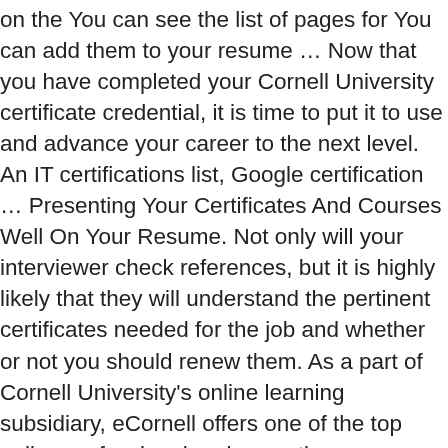on the You can see the list of pages for You can add them to your resume … Now that you have completed your Cornell University certificate credential, it is time to put it to use and advance your career to the next level. An IT certifications list, Google certification … Presenting Your Certificates And Courses Well On Your Resume. Not only will your interviewer check references, but it is highly likely that they will understand the pertinent certificates needed for the job and whether or not you should renew them. As a part of Cornell University's online learning subsidiary, eCornell offers one of the top online professional and executive development programs in the world. It should go without saying, but it is vital that you do not write down any courses that you have done in the past and pass them off and still relevant today. Accredited Learning: